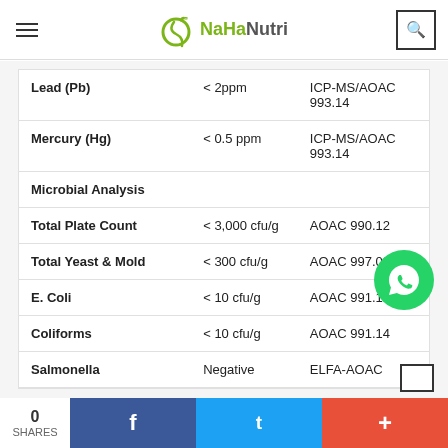NaHaNutri
|  |  |  |
| --- | --- | --- |
| Lead (Pb) | < 2ppm | ICP-MS/AOAC 993.14 |
| Mercury (Hg) | < 0.5 ppm | ICP-MS/AOAC 993.14 |
| Microbial Analysis |  |  |
| Total Plate Count | < 3,000 cfu/g | AOAC 990.12 |
| Total Yeast & Mold | < 300 cfu/g | AOAC 997.02 |
| E. Coli | < 10 cfu/g | AOAC 991.14 |
| Coliforms | < 10 cfu/g | AOAC 991.14 |
| Salmonella | Negative | ELFA-AOAC |
0 SHARES  f  t  +